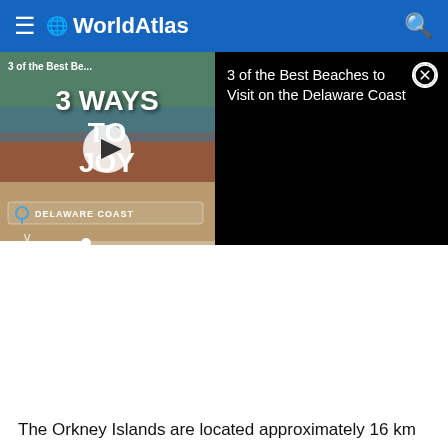WorldAtlas
[Figure (screenshot): Video player showing '3 of the Best Be...' / '3 WAYS TO ENJOY' beach video with play button, Delaware Coast location label, alongside black panel reading '3 of the Best Beaches to Visit on the Delaware Coast' with a close (X) button]
The Orkney Islands are located approximately 16 km north of mainland Scotland, across the Pentland Firth where the Atlantic Ocean meets the North